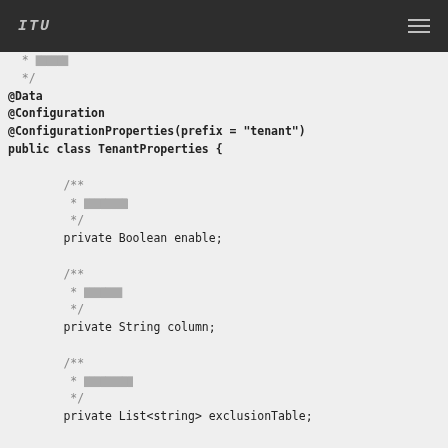ITU
* ■■■■■
 */
@Data
@Configuration
@ConfigurationProperties(prefix = "tenant")
public class TenantProperties {

        /**
         * ■■■■■■■■
         */
        private Boolean enable;

        /**
         * ■■■■■■■
         */
        private String column;

        /**
         * ■■■■■■■■■
         */
        private List<string> exclusionTable;